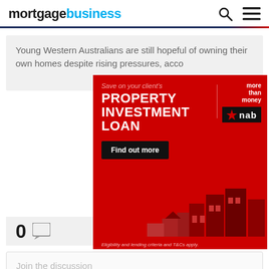mortgagebusiness
Young Western Australians are still hopeful of owning their own homes despite rising pressures, acco...
[Figure (illustration): NAB bank advertisement banner: red background with text 'Save on your client’s PROPERTY INVESTMENT LOAN', 'more than money' and NAB logo, 'Find out more' button, building illustrations, disclaimer text 'Eligibility and lending criteria and T&Cs apply.']
0
Join the discussion
There are no comments yet.